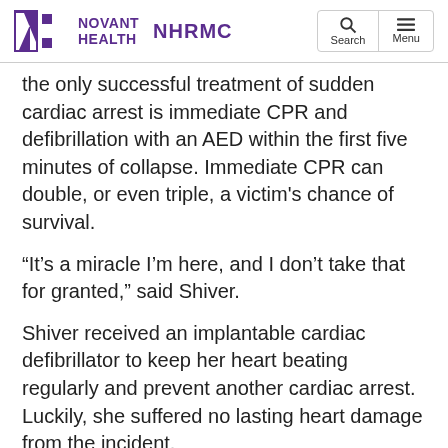Novant Health NHRMC
the only successful treatment of sudden cardiac arrest is immediate CPR and defibrillation with an AED within the first five minutes of collapse. Immediate CPR can double, or even triple, a victim's chance of survival.
“It’s a miracle I’m here, and I don’t take that for granted,” said Shiver.
Shiver received an implantable cardiac defibrillator to keep her heart beating regularly and prevent another cardiac arrest. Luckily, she suffered no lasting heart damage from the incident.